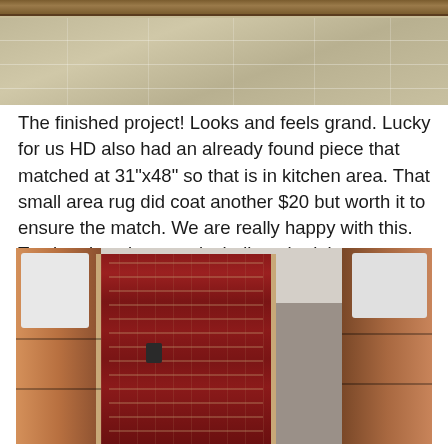[Figure (photo): Top portion of a photo showing floor tiles with a wooden bar/frame across the top, partially cropped]
The finished project! Looks and feels grand. Lucky for us HD also had an already found piece that matched at 31"x48" so that is in kitchen area. That small area rug did coat another $20 but worth it to ensure the match. We are really happy with this. Total project time, not including obtaining materials, 1 hr. Total project cost, under $80.
[Figure (photo): Photo of a hallway/kitchen area with dark wood cabinets on both sides and a red patterned runner rug in the center, with white items on top of the cabinets]